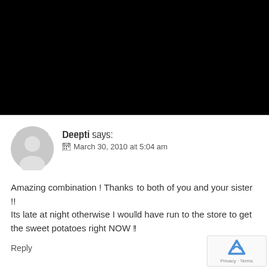[Figure (photo): Black rectangle occupying top portion of the page]
Deepti says:
📅 March 30, 2010 at 5:04 am
Amazing combination ! Thanks to both of you and your sister !!
Its late at night otherwise I would have run to the store to get the sweet potatoes right NOW !
Reply